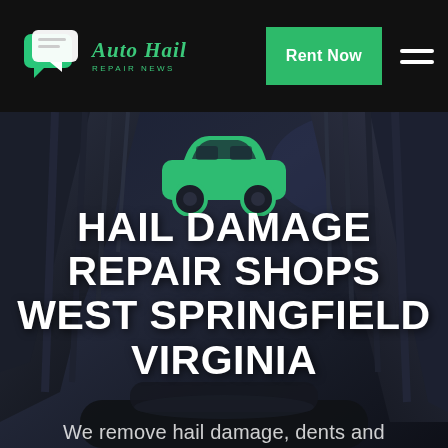[Figure (logo): Auto Hail Repair News logo with chat bubble icons in green and white on black navbar background]
Rent Now
[Figure (illustration): Green car icon silhouette on dark rocky cliff background hero image]
HAIL DAMAGE REPAIR SHOPS WEST SPRINGFIELD VIRGINIA
We remove hail damage, dents and